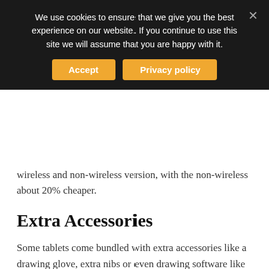We use cookies to ensure that we give you the best experience on our website. If you continue to use this site we will assume that you are happy with it.
wireless and non-wireless version, with the non-wireless about 20% cheaper.
Extra Accessories
Some tablets come bundled with extra accessories like a drawing glove, extra nibs or even drawing software like on the Wacom Intuos above. While extra accessories are not always the most important consideration, they can definitely sway your decision particularly if you manage to find a bargain.